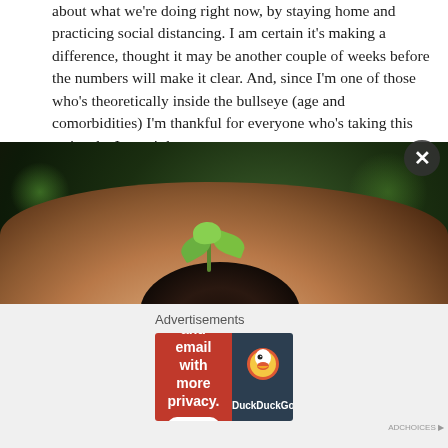about what we're doing right now, by staying home and practicing social distancing. I am certain it's making a difference, thought it may be another couple of weeks before the numbers will make it clear. And, since I'm one of those who's theoretically inside the bullseye (age and comorbidities) I'm thankful for everyone who's taking this seriously. I certainly am.
[Figure (photo): A hand holding a small seedling plant with soil against a dark bokeh background with green leaves]
Advertisements
[Figure (other): DuckDuckGo advertisement banner: 'Search, browse, and email with more privacy. All in One Free App' with DuckDuckGo logo on dark background]